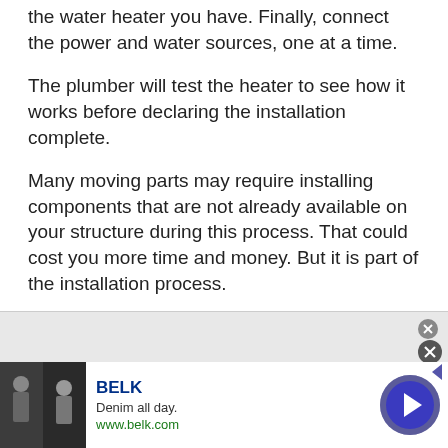the water heater you have. Finally, connect the power and water sources, one at a time.
The plumber will test the heater to see how it works before declaring the installation complete.
Many moving parts may require installing components that are not already available on your structure during this process. That could cost you more time and money. But it is part of the installation process.
[Figure (other): Advertisement banner for BELK showing 'Denim all day.' with www.belk.com URL, fashion images on left, and a forward arrow button on right]